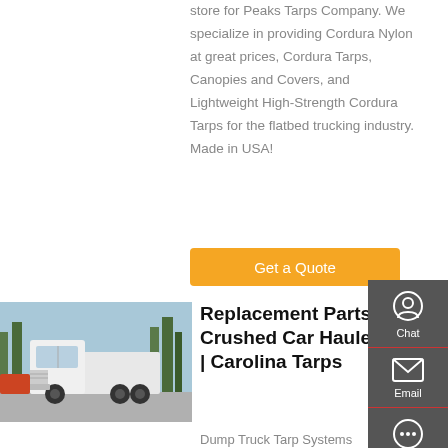store for Peaks Tarps Company. We specialize in providing Cordura Nylon at great prices, Cordura Tarps, Canopies and Covers, and Lightweight High-Strength Cordura Tarps for the flatbed trucking industry. Made in USA!
Get a Quote
[Figure (photo): White semi-truck cab (heavy duty tractor) parked in a lot with trees in background]
Replacement Parts For Crushed Car Hauler Kits | Carolina Tarps
Dump Truck Tarp Systems